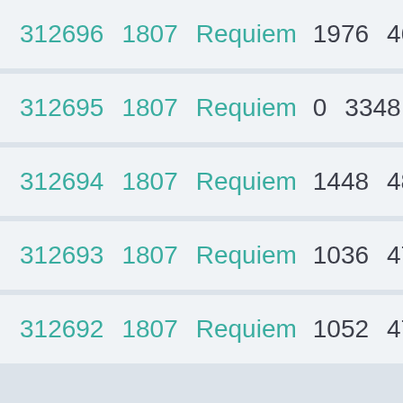| ID | Num | Name | Val1 | Val2 | Tag |
| --- | --- | --- | --- | --- | --- |
| 312696 | 1807 | Requiem | 1976 | 46928 | TLE |
| 312695 | 1807 | Requiem | 0 | 3348 | AC |
| 312694 | 1807 | Requiem | 1448 | 48176 | MLE |
| 312693 | 1807 | Requiem | 1036 | 47444 | MLE |
| 312692 | 1807 | Requiem | 1052 | 47500 | MLE |